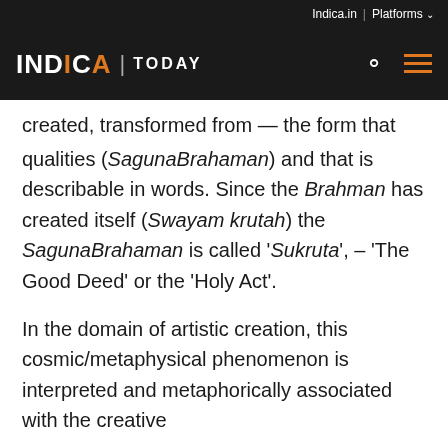Indica.in | Platforms
INDICA | TODAY
created, transformed from — the form that has qualities (SagunaBrahaman) and that is describable in words. Since the Brahman has created itself (Swayam krutah) the SagunaBrahaman is called 'Sukruta', – 'The Good Deed' or the 'Holy Act'.
In the domain of artistic creation, this cosmic/metaphysical phenomenon is interpreted and metaphorically associated with the creative